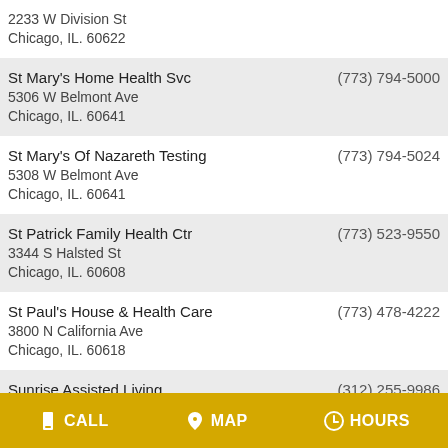| Name/Address | Phone |
| --- | --- |
| 2233 W Division St
Chicago, IL. 60622 |  |
| St Mary's Home Health Svc
5306 W Belmont Ave
Chicago, IL. 60641 | (773) 794-5000 |
| St Mary's Of Nazareth Testing
5308 W Belmont Ave
Chicago, IL. 60641 | (773) 794-5024 |
| St Patrick Family Health Ctr
3344 S Halsted St
Chicago, IL. 60608 | (773) 523-9550 |
| St Paul's House & Health Care
3800 N California Ave
Chicago, IL. 60618 | (773) 478-4222 |
| Sunrise Assisted Living
220 W Huron St
Chicago, IL. 60610 | (312) 255-9986 |
| Swedish Covenant Hospital
5145 N California Ave
Chicago, IL. 60625 | (773) 878-8200 |
| Swedish Covenant Hospital Sr… | (773) 465-3907… |
CALL   MAP   HOURS